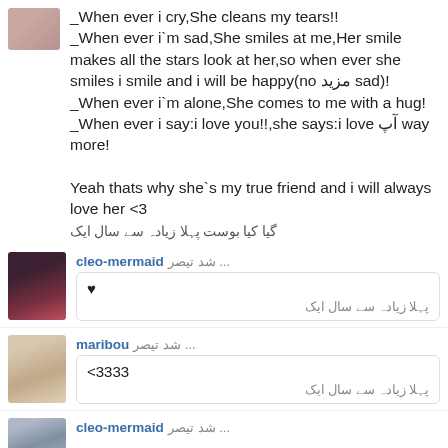_When ever i cry,She cleans my tears!! _When ever i`m sad,She smiles at me,Her smile makes all the stars look at her,so when ever she smiles i smile and i will be happy(no مزید sad)! _When ever i`m alone,She comes to me with a hug! _When ever i say:i love you!!,she says:i love آپ way more!

Yeah thats why she`s my true friend and i will always love her <3
گیا کیا بوست پہلا زیادہ سے سال ایک
cleo-mermaid شد‌ تیصر‌ ...
♥
پہلا زیادہ سے سال ایک
maribou شد‌ تیصر‌ ...
<3333
پہلا زیادہ سے سال ایک
cleo-mermaid شد‌ تیصر‌ ...